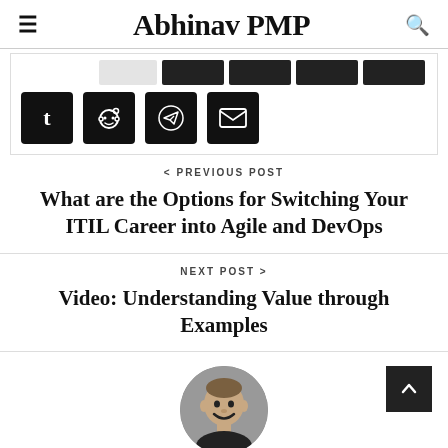Abhinav PMP
[Figure (screenshot): Social share button bar with light and dark share buttons in top row, and four black icon buttons (Tumblr, Reddit, Telegram, Email) in bottom row]
< PREVIOUS POST
What are the Options for Switching Your ITIL Career into Agile and DevOps
NEXT POST >
Video: Understanding Value through Examples
[Figure (photo): Circular profile photo of a smiling man with short hair against a dark background]